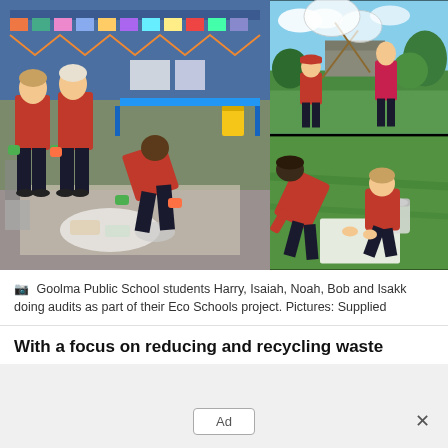[Figure (photo): Collage of three photos showing Goolma Public School students in red uniforms doing eco audits. Left: two boys standing with colourful rubber gloves and a third student bent over sorting rubbish on a tarpaulin in a classroom. Top right: two students outdoors holding butterfly nets in a grassy field. Bottom right: a teacher and young student crouching on grass examining something with a container.]
Goolma Public School students Harry, Isaiah, Noah, Bob and Isakk doing audits as part of their Eco Schools project. Pictures: Supplied
With a focus on reducing and recycling waste